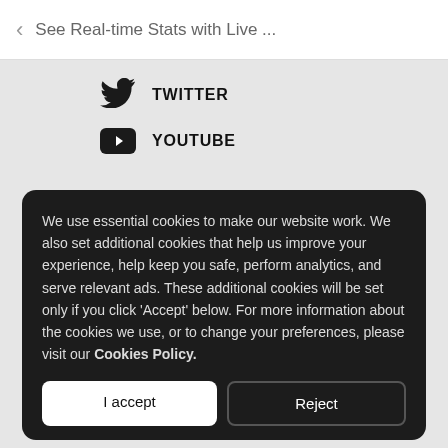See Real-time Stats with Live ...
TWITTER
YOUTUBE
We use essential cookies to make our website work. We also set additional cookies that help us improve your experience, help keep you safe, perform analytics, and serve relevant ads. These additional cookies will be set only if you click 'Accept' below. For more information about the cookies we use, or to change your preferences, please visit our Cookies Policy.
I accept
Reject